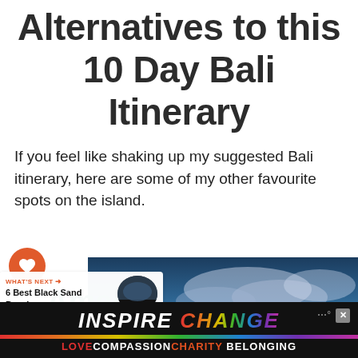Alternatives to this 10 Day Bali Itinerary
If you feel like shaking up my suggested Bali itinerary, here are some of my other favourite spots on the island.
Amed
[Figure (photo): Social sharing sidebar with heart icon showing 613 likes and a share button, alongside a photo strip showing a cloudy sky over Bali coastal scenery, with a 'What's Next' widget showing '6 Best Black Sand Beach...']
[Figure (infographic): Advertisement banner: INSPIRE CHANGE with rainbow colored text, showing LOVE COMPASSION CHARITY BELONGING below in colored text on black background with rainbow bar]